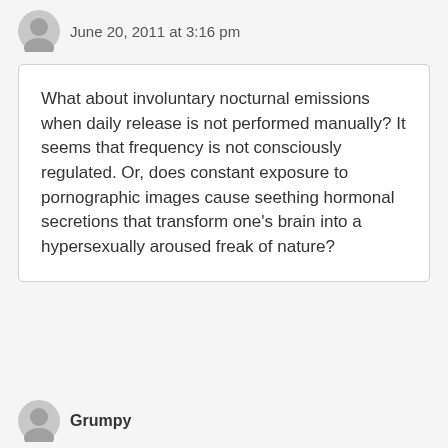June 20, 2011 at 3:16 pm
What about involuntary nocturnal emissions when daily release is not performed manually? It seems that frequency is not consciously regulated. Or, does constant exposure to pornographic images cause seething hormonal secretions that transform one’s brain into a hypersexually aroused freak of nature?
Grumpy